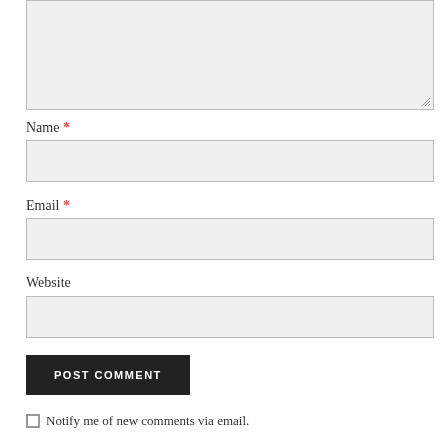[Figure (screenshot): A comment form textarea (top portion cut off), followed by Name, Email, Website text input fields, a POST COMMENT button, and a 'Notify me of new comments via email' checkbox row.]
Name *
Email *
Website
POST COMMENT
Notify me of new comments via email.